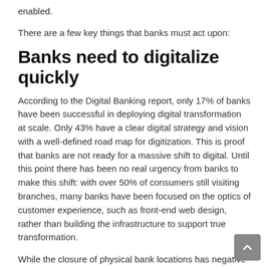enabled.
There are a few key things that banks must act upon:
Banks need to digitalize quickly
According to the Digital Banking report, only 17% of banks have been successful in deploying digital transformation at scale. Only 43% have a clear digital strategy and vision with a well-defined road map for digitization. This is proof that banks are not ready for a massive shift to digital. Until this point there has been no real urgency from banks to make this shift: with over 50% of consumers still visiting branches, many banks have been focused on the optics of customer experience, such as front-end web design, rather than building the infrastructure to support true transformation.
While the closure of physical bank locations has negative ramifications on the industry and the marketplace as a whole, it also represents an opportunity for banks to boost their digital offering for...